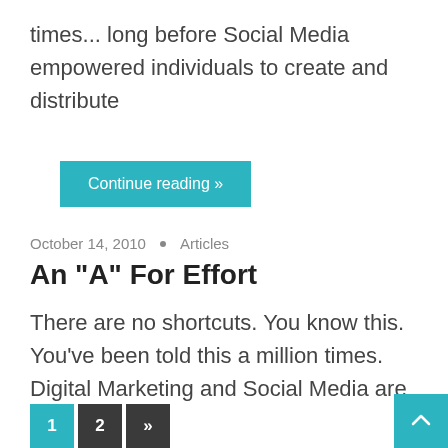times... long before Social Media empowered individuals to create and distribute
Continue reading »
October 14, 2010 • Articles
An "A" For Effort
There are no shortcuts. You know this. You've been told this a million times. Digital Marketing and Social Media are
Continue reading »
1 2 »